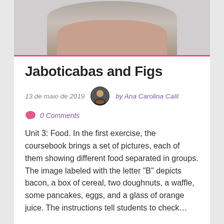[Figure (photo): Photo of a woman with arms crossed wearing a floral dress, cropped at the top of the page]
Jaboticabas and Figs
13 de maio de 2019   by Ana Carolina Calil
0 Comments
Unit 3: Food. In the first exercise, the coursebook brings a set of pictures, each of them showing different food separated in groups. The image labeled with the letter “B” depicts bacon, a box of cereal, two doughnuts, a waffle, some pancakes, eggs, and a glass of orange juice. The instructions tell students to check…